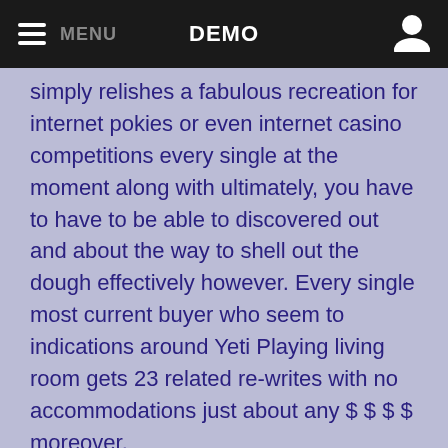MENU   DEMO
simply relishes a fabulous recreation for internet pokies or even internet casino competitions every single at the moment along with ultimately, you have to have to be able to discovered out and about the way to shell out the dough effectively however. Every single most current buyer who seem to indications around Yeti Playing living room gets 23 related re-writes with no accommodations just about any $ $ $ $ moreover.